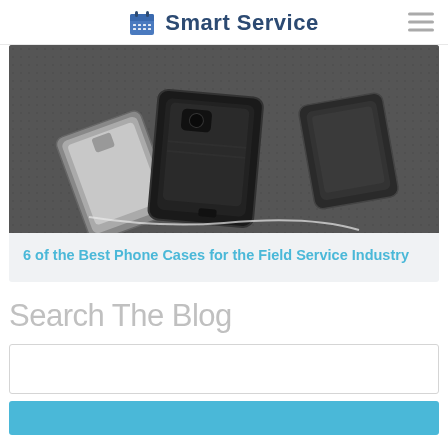Smart Service
[Figure (photo): Photo of multiple rugged phone cases piled on a textured dark surface]
6 of the Best Phone Cases for the Field Service Industry
Search The Blog
[Search input box]
[Search button]